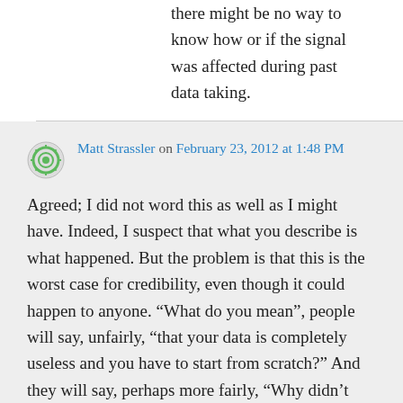there might be no way to know how or if the signal was affected during past data taking.
Matt Strassler on February 23, 2012 at 1:48 PM
Agreed; I did not word this as well as I might have. Indeed, I suspect that what you describe is what happened. But the problem is that this is the worst case for credibility, even though it could happen to anyone. “What do you mean”, people will say, unfairly, “that your data is completely useless and you have to start from scratch?” And they will say, perhaps more fairly, “Why didn’t you figure that out before you made such a big deal about your...